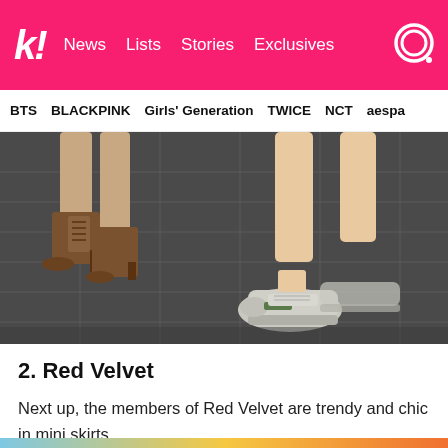k! News Lists Stories Exclusives
BTS BLACKPINK Girls' Generation TWICE NCT aespa
[Figure (photo): Close-up photo of legs and feet walking on dark tile pavement. One person wearing brown ankle boots with heels, another person wearing silver/metallic sneakers with colored detail. The legs are bare, suggesting mini skirts. Dark grey tiled floor background.]
2. Red Velvet
Next up, the members of Red Velvet are trendy and chic in mini skirts.